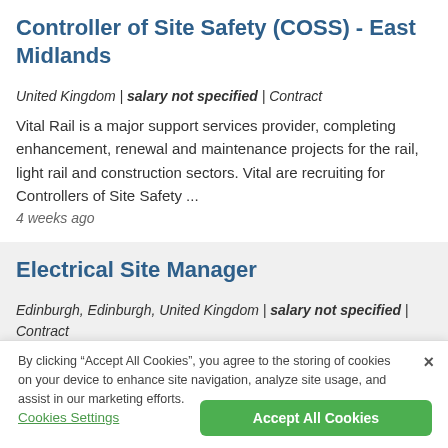Controller of Site Safety (COSS) - East Midlands
United Kingdom | salary not specified | Contract
Vital Rail is a major support services provider, completing enhancement, renewal and maintenance projects for the rail, light rail and construction sectors. Vital are recruiting for Controllers of Site Safety ...
4 weeks ago
Electrical Site Manager
Edinburgh, Edinburgh, United Kingdom | salary not specified | Contract
By clicking “Accept All Cookies”, you agree to the storing of cookies on your device to enhance site navigation, analyze site usage, and assist in our marketing efforts.
Cookies Settings
Accept All Cookies